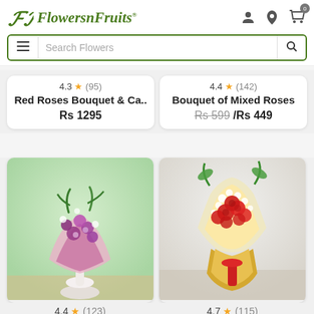FlowersnFruits - Search Flowers
4.3 ★ (95) Red Roses Bouquet & Ca.. Rs 1295
4.4 ★ (142) Bouquet of Mixed Roses Rs 599 /Rs 449
[Figure (photo): Purple orchid bouquet wrapped in pink/white tissue paper on a wooden surface with green background]
[Figure (photo): Red roses bouquet wrapped in gold/cream wrapping with white baby's breath flowers and red ribbon]
4.4 ★ (123)
4.7 ★ (115)